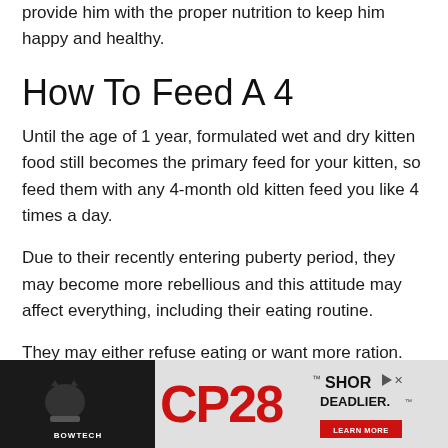provide him with the proper nutrition to keep him happy and healthy.
How To Feed A 4
Until the age of 1 year, formulated wet and dry kitten food still becomes the primary feed for your kitten, so feed them with any 4-month old kitten feed you like 4 times a day.
Due to their recently entering puberty period, they may become more rebellious and this attitude may affect everything, including their eating routine.
They may either refuse eating or want more ration. You need to make sure that your kitten is properly fed. If they ask for
[Figure (infographic): Advertisement banner for Bowtech CP28 crossbow. Dark background on the left with a cat/crossbow silhouette icon and BOWTECH text. Red CP28 logo in center. SHOR and DEADLIER text on right side with LEARN MORE button.]